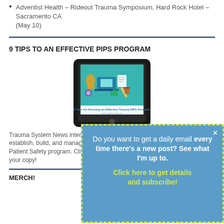Adventist Health – Rideout Trauma Symposium, Hard Rock Hotel – Sacramento CA (May 10)
9 TIPS TO AN EFFECTIVE PIPS PROGRAM
[Figure (illustration): Tablet/iPad displaying an eBook cover titled '9 Tips for Running an Effective Trauma PIPS Program' with colorful illustrated icons of hands, laptop, documents, and office items on a teal background.]
Trauma System News interviewed me and produced this eBook on how to establish, build, and manage an effective Performance Improvement and Patient Safety program. Click the image above to visit their site and download your copy!
MERCH!
Do you want to get a daily email every time there's a new post? See what I'm up to. Click here to get details and subscribe!